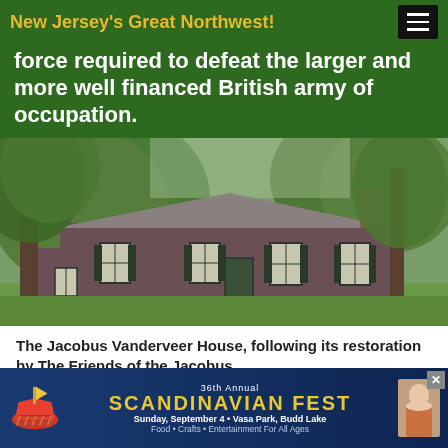New Jersey's Great Northwest!
force required to defeat the larger and more well financed British army of occupation.
[Figure (photo): Exterior photo of the Jacobus Vanderveer House, a historic colonial-era dark wood building with black shutters surrounded by large green trees and a grass lawn.]
The Jacobus Vanderveer House, following its restoration by The Friends of the Jacobus
[Figure (infographic): Advertisement banner for the 36th Annual Scandinavian Fest. Sunday, September 4 · Vasa Park, Budd Lake. Food · Crafts · Entertainment For All Ages. Features a Viking ship logo and a person's image.]